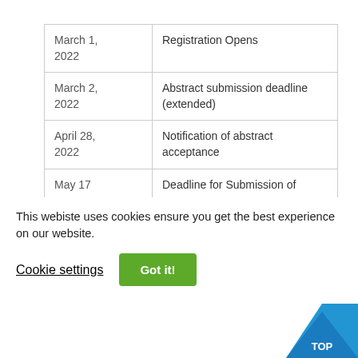| Date | Event |
| --- | --- |
| March 1, 2022 | Registration Opens |
| March 2, 2022 | Abstract submission deadline (extended) |
| April 28, 2022 | Notification of abstract acceptance |
| May 17 | Deadline for Submission of |
This webiste uses cookies ensure you get the best experience on our website.
Cookie settings
Got it!